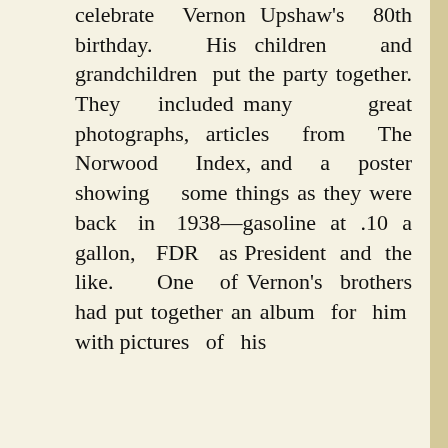celebrate Vernon Upshaw's 80th birthday. His children and grandchildren put the party together. They included many great photographs, articles from The Norwood Index, and a poster showing some things as they were back in 1938—gasoline at .10 a gallon, FDR as President and the like. One of Vernon's brothers had put together an album for him with pictures of his